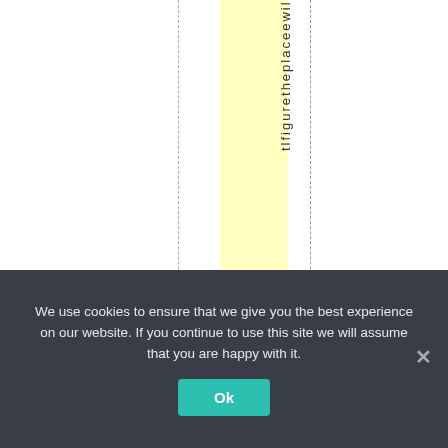[Figure (other): Document layout showing vertical dashed lines with a yellow highlighted column and rotated vertical text reading 'lfiguretheplaceewi...' running top to bottom along the highlighted column]
We use cookies to ensure that we give you the best experience on our website. If you continue to use this site we will assume that you are happy with it.